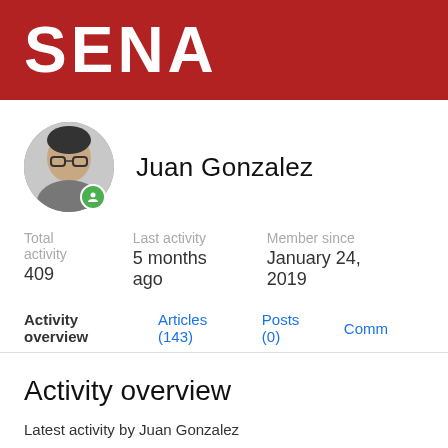[Figure (logo): SENA logo — white bold text on dark red background]
[Figure (photo): Circular profile photo of Juan Gonzalez, a man with glasses, with a green online indicator badge]
Juan Gonzalez
Total activity
409
Last activity
5 months ago
Member since
January 24, 2019
Activity overview
Articles (143)
Posts (0)
Comm
Activity overview
Latest activity by Juan Gonzalez